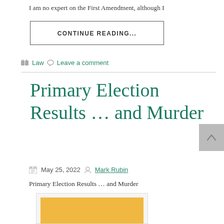I am no expert on the First Amendment, although I
CONTINUE READING...
Law   Leave a comment
Primary Election Results ... and Murder
May 25, 2022   Mark Rubin
Primary Election Results ... and Murder
[Figure (photo): Partial image with yellow/gold rectangle on white background, appears to be a blog post thumbnail]